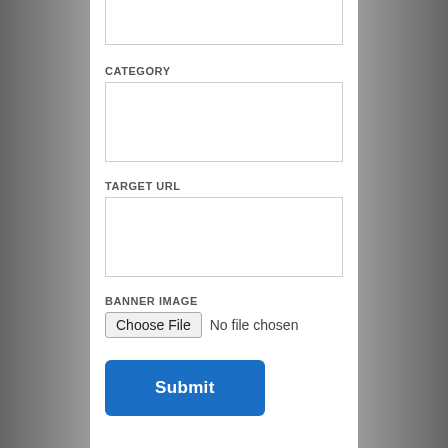(top input field, partially visible)
CATEGORY
(category input field)
TARGET URL
(target url input field)
BANNER IMAGE
Choose File  No file chosen
Submit